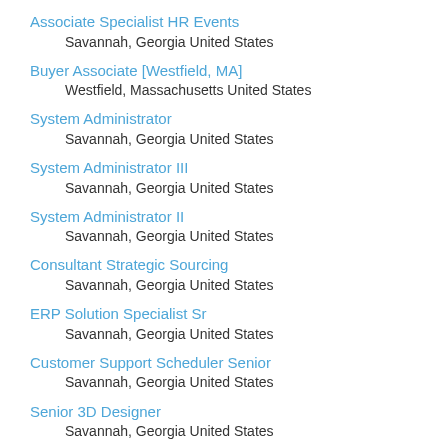Associate Specialist HR Events
Savannah, Georgia United States
Buyer Associate [Westfield, MA]
Westfield, Massachusetts United States
System Administrator
Savannah, Georgia United States
System Administrator III
Savannah, Georgia United States
System Administrator II
Savannah, Georgia United States
Consultant Strategic Sourcing
Savannah, Georgia United States
ERP Solution Specialist Sr
Savannah, Georgia United States
Customer Support Scheduler Senior
Savannah, Georgia United States
Senior 3D Designer
Savannah, Georgia United States
Teamcenter Developer- Remote Eligible
Savannah, Georgia United States